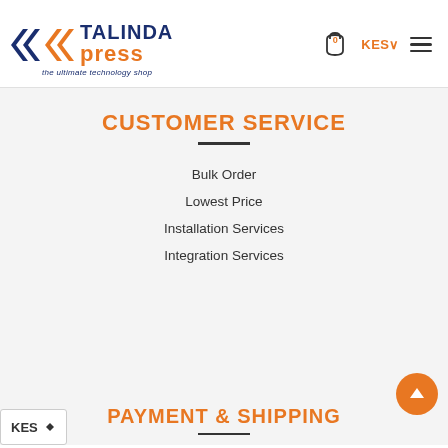[Figure (logo): Talinda Xpress logo - the ultimate technology shop, with orange and dark blue colors]
CUSTOMER SERVICE
Bulk Order
Lowest Price
Installation Services
Integration Services
PAYMENT & SHIPPING